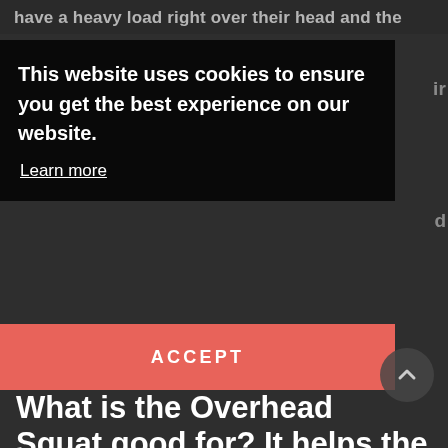have a heavy load right over their head and the
This website uses cookies to ensure you get the best experience on our website.
Learn more
ACCEPT
What is the Overhead Squat good for? It helps the Front Squat and Back Squat
If you are interested in getting stronger and / or want to gain muscle mass, you have probably realized, that the Overhead Squat doesn't allow you to overload the lower body sufficiently in